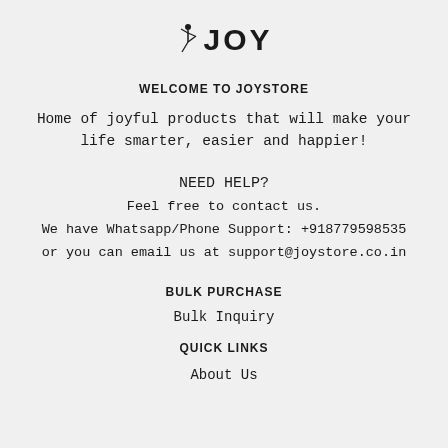[Figure (logo): JOY brand logo with a stylized dancer figure and bold text 'JOY']
WELCOME TO JOYSTORE
Home of joyful products that will make your life smarter, easier and happier!
NEED HELP?
Feel free to contact us.
We have Whatsapp/Phone Support: +918779598535
or you can email us at support@joystore.co.in
BULK PURCHASE
Bulk Inquiry
QUICK LINKS
About Us